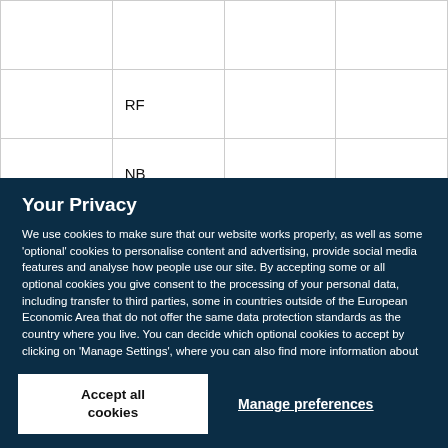|  |  |  |  |
|  | RF |  |  |
|  | NB |  |  |
Your Privacy
We use cookies to make sure that our website works properly, as well as some ‘optional’ cookies to personalise content and advertising, provide social media features and analyse how people use our site. By accepting some or all optional cookies you give consent to the processing of your personal data, including transfer to third parties, some in countries outside of the European Economic Area that do not offer the same data protection standards as the country where you live. You can decide which optional cookies to accept by clicking on ‘Manage Settings’, where you can also find more information about how your personal data is processed. Further information can be found in our privacy policy.
Accept all cookies
Manage preferences